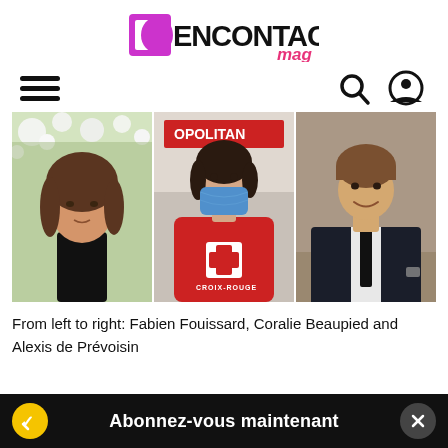[Figure (logo): EN CONTACT MAG logo with purple/magenta stylized D and 'mag' in pink italic script]
[Figure (other): Navigation bar with hamburger menu icon on left, search and user profile icons on right]
[Figure (photo): Three photos side by side: left - man with long hair in black turtleneck against white flowers; center - woman wearing blue face mask and red Croix-Rouge (Red Cross) hoodie outdoors; right - man in dark suit smiling seated]
From left to right: Fabien Fouissard, Coralie Beaupied and Alexis de Prévoisin
[Figure (other): Bottom banner: yellow checkmark circle on left, black background with 'Abonnez-vous maintenant' in white bold text, dark close X button on right]